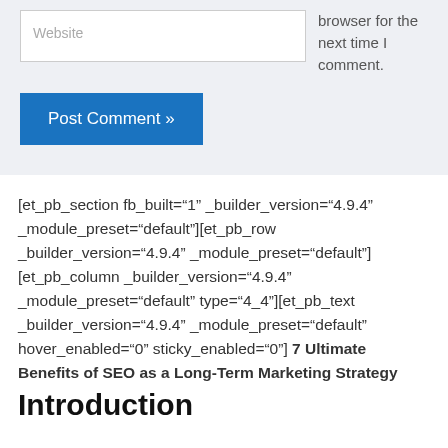browser for the next time I comment.
Website
Post Comment »
[et_pb_section fb_built="1" _builder_version="4.9.4" _module_preset="default"][et_pb_row _builder_version="4.9.4" _module_preset="default"][et_pb_column _builder_version="4.9.4" _module_preset="default" type="4_4"][et_pb_text _builder_version="4.9.4" _module_preset="default" hover_enabled="0" sticky_enabled="0"] 7 Ultimate Benefits of SEO as a Long-Term Marketing Strategy
Introduction